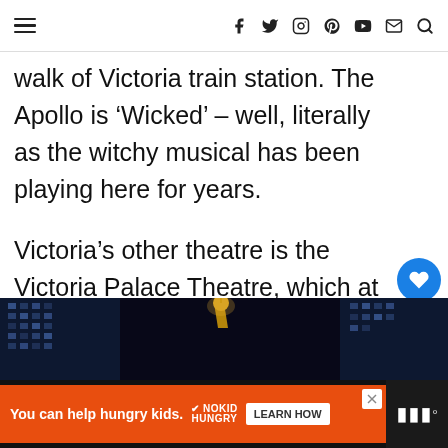Navigation bar with hamburger menu and social icons
walk of Victoria train station. The Apollo is ‘Wicked’ – well, literally as the witchy musical has been playing here for years.
Victoria’s other theatre is the Victoria Palace Theatre, which at the time of writing is playing host to ‘Hamilton the Musical’ and underwent a recent major refurbishment.
[Figure (photo): Nighttime photo of Victoria Palace Theatre exterior with illuminated signage]
You can help hungry kids.  NOKID HUNGRY  LEARN HOW